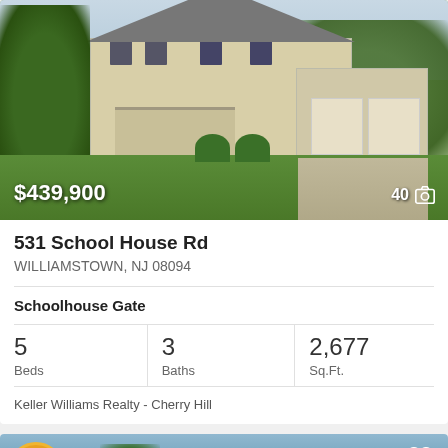[Figure (photo): Exterior photo of a two-story colonial-style house with two-car garage, green lawn, and trees]
$439,900
40
531 School House Rd
WILLIAMSTOWN, NJ 08094
Schoolhouse Gate
5 Beds
3 Baths
2,677 Sq.Ft.
Keller Williams Realty - Cherry Hill
[Figure (photo): Partial view of a second property listing with accessibility badge and date overlay showing 8/16/2022]